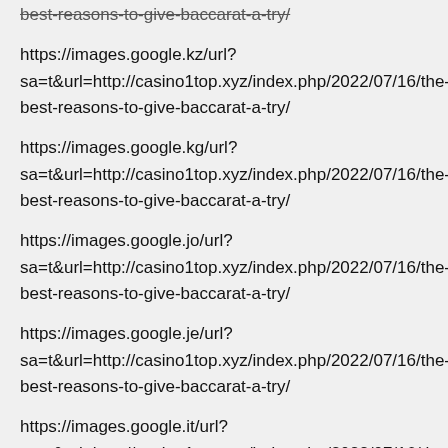best-reasons-to-give-baccarat-a-try/
https://images.google.kz/url?sa=t&url=http://casino1top.xyz/index.php/2022/07/16/the-best-reasons-to-give-baccarat-a-try/
https://images.google.kg/url?sa=t&url=http://casino1top.xyz/index.php/2022/07/16/the-best-reasons-to-give-baccarat-a-try/
https://images.google.jo/url?sa=t&url=http://casino1top.xyz/index.php/2022/07/16/the-best-reasons-to-give-baccarat-a-try/
https://images.google.je/url?sa=t&url=http://casino1top.xyz/index.php/2022/07/16/the-best-reasons-to-give-baccarat-a-try/
https://images.google.it/url?sa=t&url=http://casino1top.xyz/index.php/2022/07/16/the-best-reasons-to-give-baccarat-a-try/